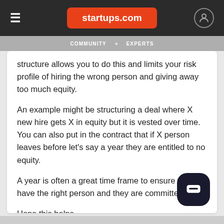startups.com
COMMUNITY  +  EXPERTS
structure allows you to do this and limits your risk profile of hiring the wrong person and giving away too much equity.
An example might be structuring a deal where X new hire gets X in equity but it is vested over time. You can also put in the contract that if X person leaves before let's say a year they are entitled to no equity.
A year is often a great time frame to ensure you have the right person and they are committed.
Hope this helps